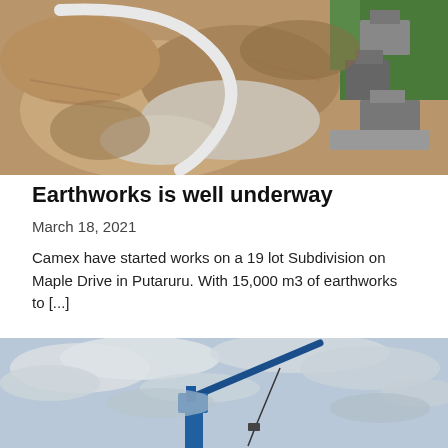[Figure (photo): Aerial/drone view of earthworks construction site on Maple Drive, Putaruru. Shows excavated land with curved road or pipe tracing visible from above, alongside residential buildings and green grass areas.]
Earthworks is well underway
March 18, 2021
Camex have started works on a 19 lot Subdivision on Maple Drive in Putaruru. With 15,000 m3 of earthworks to [...]
[Figure (photo): Photo of a blue crane against a cloudy sky, photographed from below looking up at the crane boom and cables.]